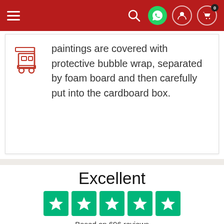Navigation bar with hamburger menu, search, whatsapp, account, and cart (0) icons
paintings are covered with protective bubble wrap, separated by foam board and then carefully put into the cardboard box.
[Figure (infographic): Orange icon of a forklift/delivery vehicle with boxes]
Excellent
[Figure (infographic): Five green Trustpilot star rating boxes with white stars]
Based on 696 reviews
[Figure (logo): Trustpilot logo with green star and Trustpilot wordmark]